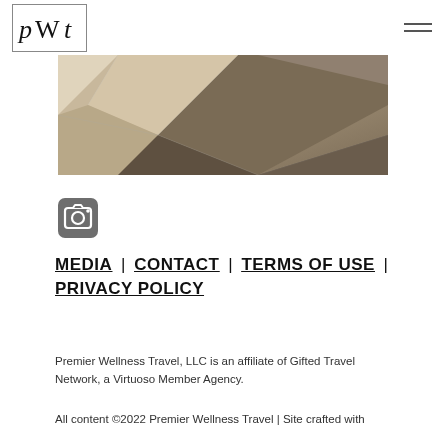PWT logo and navigation hamburger menu
[Figure (photo): Abstract architectural photo showing angular geometric stone or concrete forms with triangular shapes and sharp edges, in beige and brown tones]
[Figure (other): Instagram icon — camera outline with grey rounded square background]
MEDIA | CONTACT | TERMS OF USE | PRIVACY POLICY
Premier Wellness Travel, LLC is an affiliate of Gifted Travel Network, a Virtuoso Member Agency.
All content ©2022 Premier Wellness Travel | Site crafted with